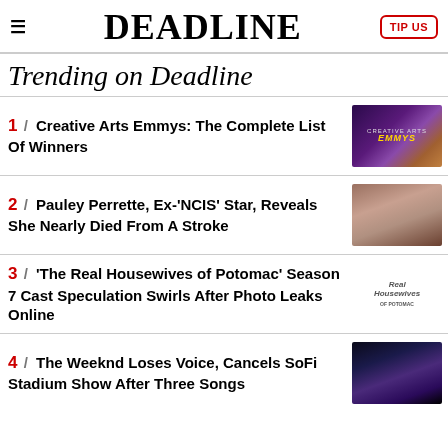DEADLINE | TIP US
Trending on Deadline
1 / Creative Arts Emmys: The Complete List Of Winners
2 / Pauley Perrette, Ex-'NCIS' Star, Reveals She Nearly Died From A Stroke
3 / 'The Real Housewives of Potomac' Season 7 Cast Speculation Swirls After Photo Leaks Online
4 / The Weeknd Loses Voice, Cancels SoFi Stadium Show After Three Songs